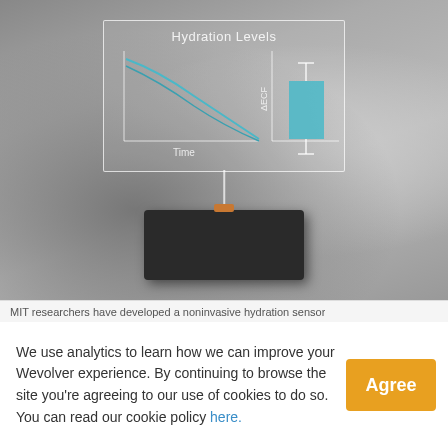[Figure (photo): MIT noninvasive hydration sensor device (dark rectangular box) on a lab bench, with an overlaid transparent chart panel showing 'Hydration Levels' with a declining curve labeled 'Time' on x-axis and a bar chart labeled 'ΔECF' on the right side.]
MIT researchers have developed a noninvasive hydration sensor
We use analytics to learn how we can improve your Wevolver experience. By continuing to browse the site you're agreeing to our use of cookies to do so. You can read our cookie policy here.